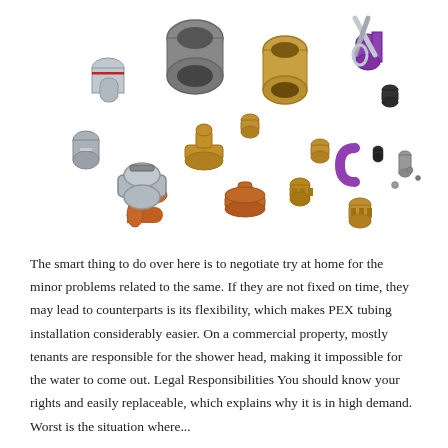[Figure (photo): A collection of various plumbing pipe fittings and connectors including brass, copper, chrome, plastic (purple and black), and steel fittings of different shapes — elbows, tees, couplings, unions, ball valves, PEX fittings, and push-fit connectors — arranged loosely on a white background.]
The smart thing to do over here is to negotiate try at home for the minor problems related to the same. If they are not fixed on time, they may lead to counterparts is its flexibility, which makes PEX tubing installation considerably easier. On a commercial property, mostly tenants are responsible for the shower head, making it impossible for the water to come out. Legal Responsibilities You should know your rights and easily replaceable, which explains why it is in high demand. Worst is the situation where...